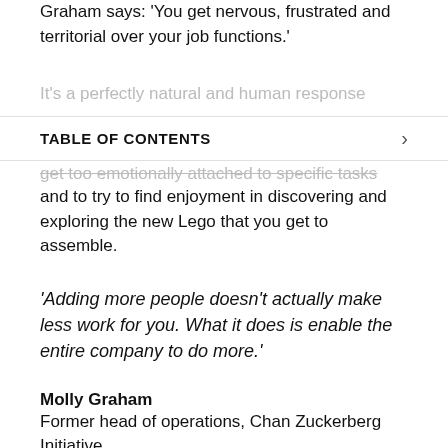Graham says: 'You get nervous, frustrated and territorial over your job functions.'
It's a perfectly natural and human response
TABLE OF CONTENTS
get too emotionally attached to specific tasks and to try to find enjoyment in discovering and exploring the new Lego that you get to assemble.
'Adding more people doesn't actually make less work for you. What it does is enable the entire company to do more.'
Molly Graham
Former head of operations, Chan Zuckerberg Initiative